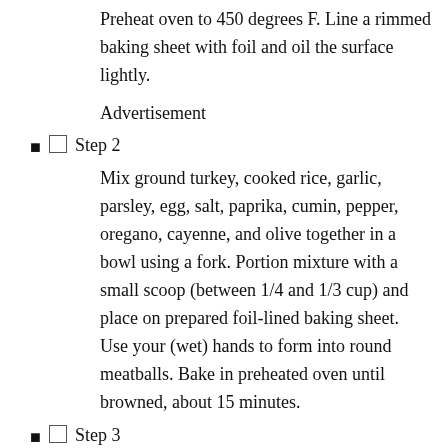Preheat oven to 450 degrees F. Line a rimmed baking sheet with foil and oil the surface lightly.
Advertisement
Step 2
Mix ground turkey, cooked rice, garlic, parsley, egg, salt, paprika, cumin, pepper, oregano, cayenne, and olive together in a bowl using a fork. Portion mixture with a small scoop (between 1/4 and 1/3 cup) and place on prepared foil-lined baking sheet. Use your (wet) hands to form into round meatballs. Bake in preheated oven until browned, about 15 minutes.
Step 3
Pour chicken broth and prepared tomato sauce in a saucepan. Whisk in creme fraiche, sherry vinegar, and paprika. Transfer meatballs to tomato sauce. Set heat to medium high and bring to a simmer. Reduce heat to low